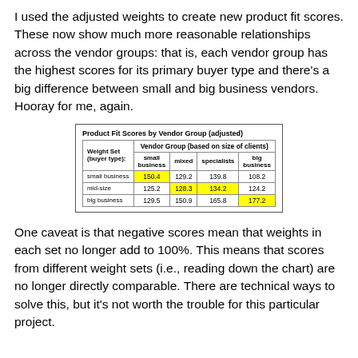I used the adjusted weights to create new product fit scores. These now show much more reasonable relationships across the vendor groups: that is, each vendor group has the highest scores for its primary buyer type and there's a big difference between small and big business vendors. Hooray for me, again.
| Weight Set (buyer type): | small business | mixed | specialists | big business |
| --- | --- | --- | --- | --- |
| small business | 150.4 | 129.2 | 139.8 | 108.2 |
| mid-size | 125.2 | 128.3 | 134.2 | 124.2 |
| big business | 129.5 | 150.9 | 165.8 | 177.2 |
One caveat is that negative scores mean that weights in each set no longer add to 100%. This means that scores from different weight sets (i.e., reading down the chart) are no longer directly comparable. There are technical ways to solve this, but it's not worth the trouble for this particular project.